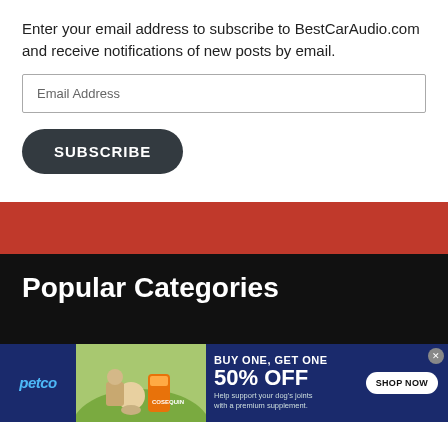Enter your email address to subscribe to BestCarAudio.com and receive notifications of new posts by email.
Email Address
SUBSCRIBE
Popular Categories
[Figure (infographic): Petco advertisement banner: BUY ONE, GET ONE 50% OFF. Help support your dog's joints with a premium supplement. SHOP NOW button. Shows woman with dog and supplement product.]